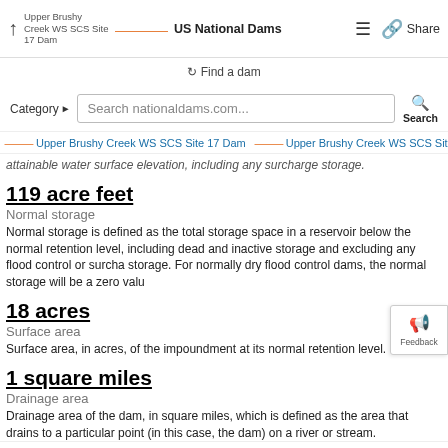Upper Brushy Creek WS SCS Site 17 Dam | US National Dams | Share
Find a dam
Category | Search nationaldams.com... | Search
Upper Brushy Creek WS SCS Site 17 Dam | Upper Brushy Creek WS SCS Site 19 Dam | Upper ...
attainable water surface elevation, including any surcharge storage.
119 acre feet
Normal storage
Normal storage is defined as the total storage space in a reservoir below the normal retention level, including dead and inactive storage and excluding any flood control or surcharge storage. For normally dry flood control dams, the normal storage will be a zero valu...
18 acres
Surface area
Surface area, in acres, of the impoundment at its normal retention level.
1 square miles
Drainage area
Drainage area of the dam, in square miles, which is defined as the area that drains to a particular point (in this case, the dam) on a river or stream.